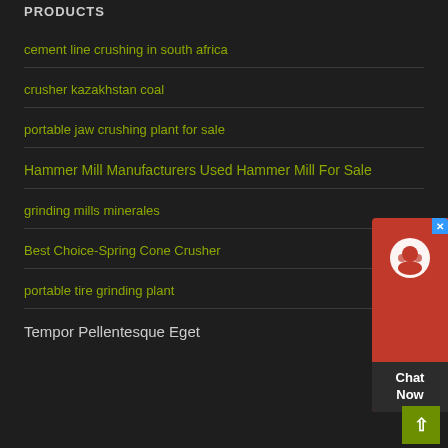PRODUCTS
cement line crushing in south africa
crusher kazakhstan coal
portable jaw crushing plant for sale
Hammer Mill Manufacturers Used Hammer Mill For Sale
grinding mills minerales
Best Choice-Spring Cone Crusher
portable tire grinding plant
Tempor Pellentesque Eget
[Figure (other): Chat Now live support widget with red background and headset icon]
[Figure (other): Back to top button, olive green square with upward arrow]